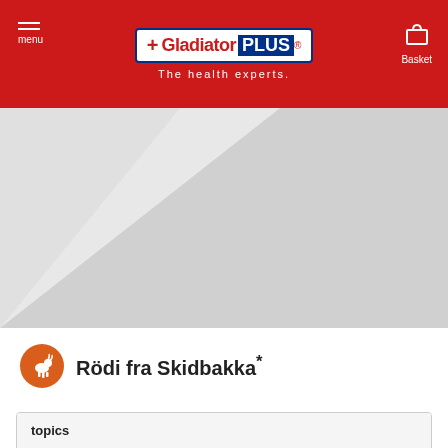Gladiator PLUS — The health experts. menu | Basket
[Figure (photo): Large hero banner area with grey diagonal design, placeholder product/animal image]
Rödi fra Skidbakka*
topics
Summer eczema, Eczema